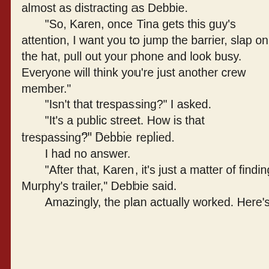almost as distracting as Debbie.

“So, Karen, once Tina gets this guy’s attention, I want you to jump the barrier, slap on the hat, pull out your phone and look busy. Everyone will think you’re just another crew member.”

“Isn’t that trespassing?” I asked.

“It’s a public street. How is that trespassing?” Debbie replied.

I had no answer.

“After that, Karen, it’s just a matter of finding Murphy’s trailer,” Debbie said.

Amazingly, the plan actually worked. Here’s